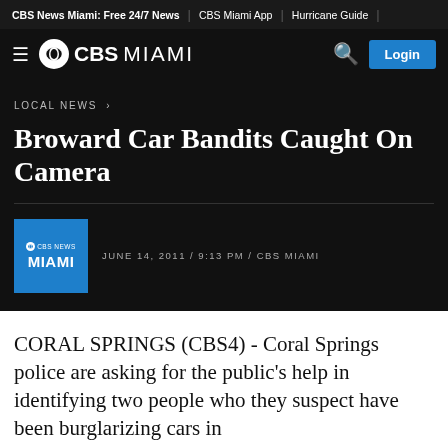CBS News Miami: Free 24/7 News | CBS Miami App | Hurricane Guide
CBS MIAMI — navigation bar with hamburger menu, search icon, Login button
LOCAL NEWS ›
Broward Car Bandits Caught On Camera
JUNE 14, 2011 / 9:13 PM / CBS MIAMI
CORAL SPRINGS (CBS4) - Coral Springs police are asking for the public's help in identifying two people who they suspect have been burglarizing cars in